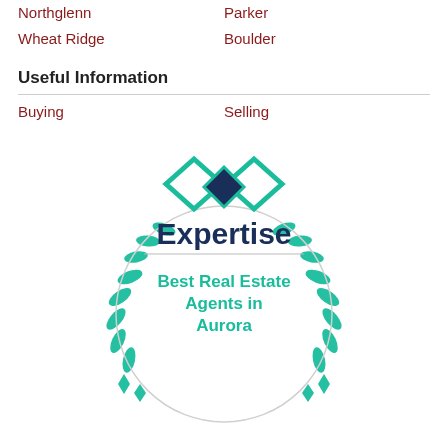Northglenn
Parker
Wheat Ridge
Boulder
Useful Information
Buying
Selling
[Figure (logo): Expertise.com award badge: Best Real Estate Agents in Aurora. Features two interlocking diamond shapes in teal and dark navy above the word Expertise, with a laurel wreath in teal surrounding the badge and the text Best Real Estate Agents in Aurora in teal below.]